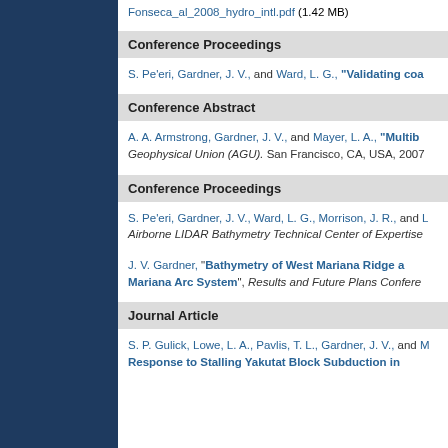Fonseca_al_2008_hydro_intl.pdf (1.42 MB)
Conference Proceedings
S. Pe'eri, Gardner, J. V., and Ward, L. G., "Validating coa..."
Conference Abstract
A. A. Armstrong, Gardner, J. V., and Mayer, L. A., "Multib..." Geophysical Union (AGU). San Francisco, CA, USA, 2007
Conference Proceedings
S. Pe'eri, Gardner, J. V., Ward, L. G., Morrison, J. R., and L... Airborne LIDAR Bathymetry Technical Center of Expertise...
J. V. Gardner, "Bathymetry of West Mariana Ridge and Mariana Arc System", Results and Future Plans Confere...
Journal Article
S. P. Gulick, Lowe, L. A., Pavlis, T. L., Gardner, J. V., and M... Response to Stalling Yakutat Block Subduction in...